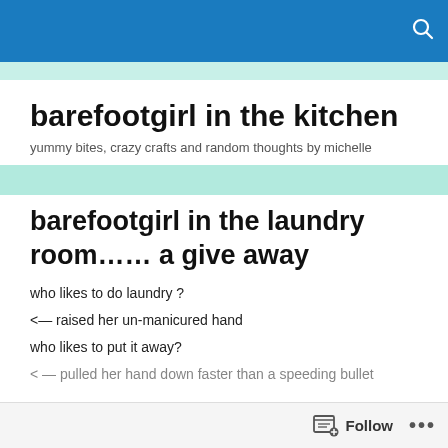barefootgirl in the kitchen — search icon
barefootgirl in the kitchen
yummy bites, crazy crafts and random thoughts by michelle
barefootgirl in the laundry room…… a give away
who likes to do laundry ?
<— raised her un-manicured hand
who likes to put it away?
< — pulled her hand down faster than a speeding bullet
Follow  •••